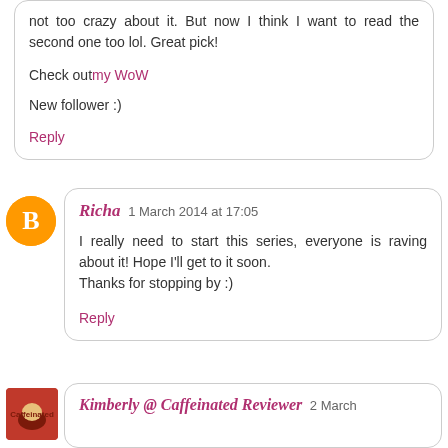not too crazy about it. But now I think I want to read the second one too lol. Great pick!
Check out my WoW
New follower :)
Reply
Richa 1 March 2014 at 17:05
I really need to start this series, everyone is raving about it! Hope I'll get to it soon. Thanks for stopping by :)
Reply
Kimberly @ Caffeinated Reviewer 2 March